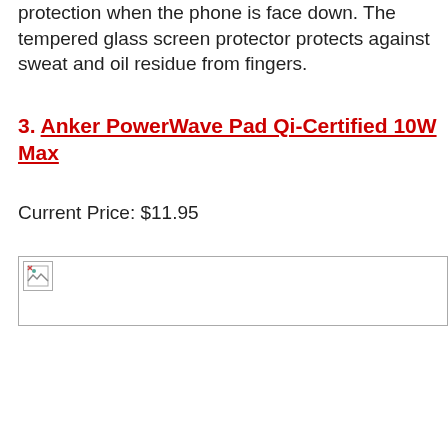protection when the phone is face down. The tempered glass screen protector protects against sweat and oil residue from fingers.
3. Anker PowerWave Pad Qi-Certified 10W Max
Current Price: $11.95
[Figure (other): Broken image placeholder icon]